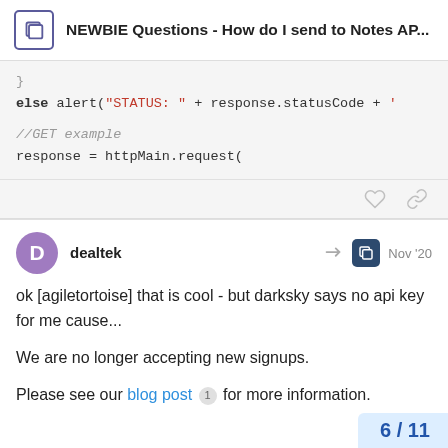NEWBIE Questions - How do I send to Notes AP...
else alert("STATUS: " + response.statusCode + '

//GET example
response = httpMain.request(
ok [agiletortoise] that is cool - but darksky says no api key for me cause...

We are no longer accepting new signups.

Please see our blog post 1 for more information.
6 / 11